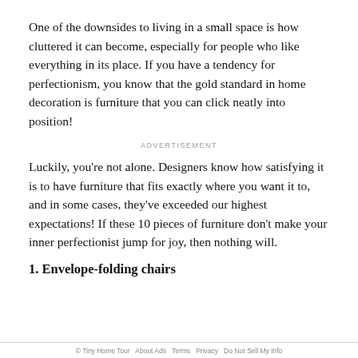One of the downsides to living in a small space is how cluttered it can become, especially for people who like everything in its place. If you have a tendency for perfectionism, you know that the gold standard in home decoration is furniture that you can click neatly into position!
ADVERTISEMENT
Luckily, you're not alone. Designers know how satisfying it is to have furniture that fits exactly where you want it to, and in some cases, they've exceeded our highest expectations! If these 10 pieces of furniture don't make your inner perfectionist jump for joy, then nothing will.
1. Envelope-folding chairs
© Tiny Home Tour  About Ads  Terms  Privacy  Do Not Sell My Info